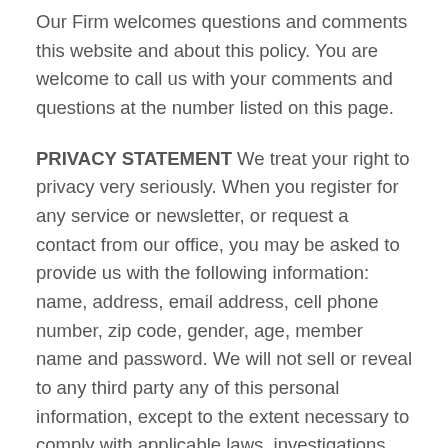Our Firm welcomes questions and comments this website and about this policy. You are welcome to call us with your comments and questions at the number listed on this page.
PRIVACY STATEMENT We treat your right to privacy very seriously. When you register for any service or newsletter, or request a contact from our office, you may be asked to provide us with the following information: name, address, email address, cell phone number, zip code, gender, age, member name and password. We will not sell or reveal to any third party any of this personal information, except to the extent necessary to comply with applicable laws, investigations, or in legal proceedings where such information is relevant.